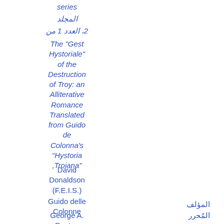series
المجلد
2، العدد 1 من
The "Gest Hystoriale" of the Destruction of Troy: an Alliterative Romance Translated from Guido de Colonna's "Hystoria ,Troiana"
David Donaldson (F.E.I.S.)
Guido delle Colonne
المؤلف
George A. Panton
المُحرر